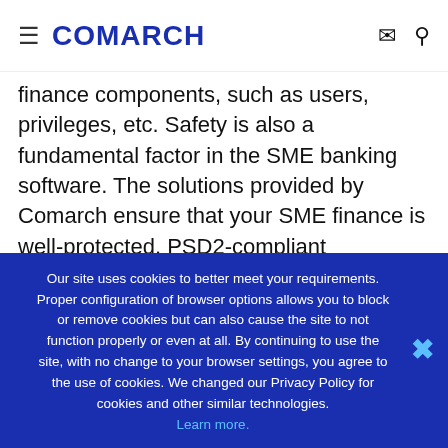COMARCH
finance components, such as users, privileges, etc. Safety is also a fundamental factor in the SME banking software. The solutions provided by Comarch ensure that your SME finance is well-protected. PSD2-compliant authentication methods guarantee transaction security during every stage of an operation.
The reliable and well-known Comarch corporate banking system is widely used around the globe. With 4 000 000 registered users worldwide and 87% of end-users stating that the software fully met their expectations, you can be
Our site uses cookies to better meet your requirements. Proper configuration of browser options allows you to block or remove cookies but can also cause the site to not function properly or even at all. By continuing to use the site, with no change to your browser settings, you agree to the use of cookies. We changed our Privacy Policy for cookies and other similar technologies. Learn more.